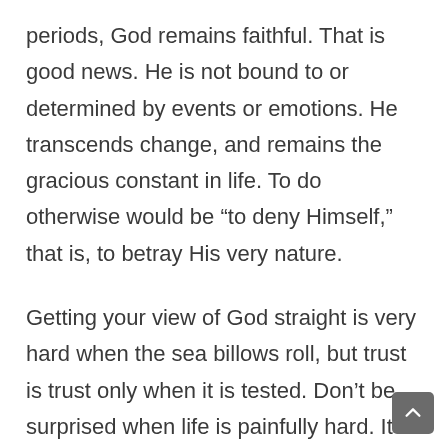periods, God remains faithful. That is good news. He is not bound to or determined by events or emotions. He transcends change, and remains the gracious constant in life. To do otherwise would be “to deny Himself,” that is, to betray His very nature.
Getting your view of God straight is very hard when the sea billows roll, but trust is trust only when it is tested. Don’t be surprised when life is painfully hard. It always has been. Just try to see through to God’s light. To stay with the metaphor, life’s darkness does not extinguish God’s light. The darkness proves the existence